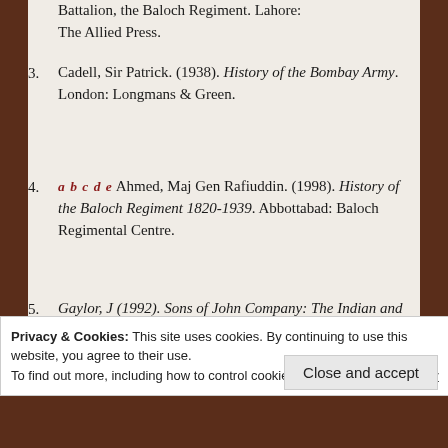Battalion, the Baloch Regiment. Lahore: The Allied Press.
3. Cadell, Sir Patrick. (1938). History of the Bombay Army. London: Longmans & Green.
4. a b c d e Ahmed, Maj Gen Rafiuddin. (1998). History of the Baloch Regiment 1820-1939. Abbottabad: Baloch Regimental Centre.
5. Gaylor, J (1992). Sons of John Company: The Indian and Pakistan Armies 1903–1991. Spellmount.
6. Barthorn, Michael; Jeffrey Burn
Privacy & Cookies: This site uses cookies. By continuing to use this website, you agree to their use.
To find out more, including how to control cookies, see here: Cookie Policy
Close and accept